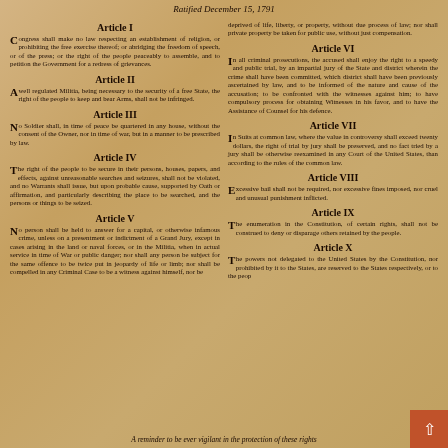Ratified December 15, 1791
Article I
Congress shall make no law respecting an establishment of religion, or prohibiting the free exercise thereof; or abridging the freedom of speech, or of the press; or the right of the people peaceably to assemble, and to petition the Government for a redress of grievances.
Article II
A well regulated Militia, being necessary to the security of a free State, the right of the people to keep and bear Arms, shall not be infringed.
Article III
No Soldier shall, in time of peace be quartered in any house, without the consent of the Owner, nor in time of war, but in a manner to be prescribed by law.
Article IV
The right of the people to be secure in their persons, houses, papers, and effects, against unreasonable searches and seizures, shall not be violated, and no Warrants shall issue, but upon probable cause, supported by Oath or affirmation, and particularly describing the place to be searched, and the persons or things to be seized.
Article V
No person shall be held to answer for a capital, or otherwise infamous crime, unless on a presentment or indictment of a Grand Jury, except in cases arising in the land or naval forces, or in the Militia, when in actual service in time of War or public danger; nor shall any person be subject for the same offence to be twice put in jeopardy of life or limb; nor shall be compelled in any Criminal Case to be a witness against himself, nor be deprived of life, liberty, or property, without due process of law; nor shall private property be taken for public use, without just compensation.
Article VI
In all criminal prosecutions, the accused shall enjoy the right to a speedy and public trial, by an impartial jury of the State and district wherein the crime shall have been committed, which district shall have been previously ascertained by law, and to be informed of the nature and cause of the accusation; to be confronted with the witnesses against him; to have compulsory process for obtaining Witnesses in his favor, and to have the Assistance of Counsel for his defence.
Article VII
In Suits at common law, where the value in controversy shall exceed twenty dollars, the right of trial by jury shall be preserved, and no fact tried by a jury shall be otherwise reexamined in any Court of the United States, than according to the rules of the common law.
Article VIII
Excessive bail shall not be required, nor excessive fines imposed, nor cruel and unusual punishment inflicted.
Article IX
The enumeration in the Constitution, of certain rights, shall not be construed to deny or disparage others retained by the people.
Article X
The powers not delegated to the United States by the Constitution, nor prohibited by it to the States, are reserved to the States respectively, or to the people.
A reminder to be ever vigilant in the protection of these rights